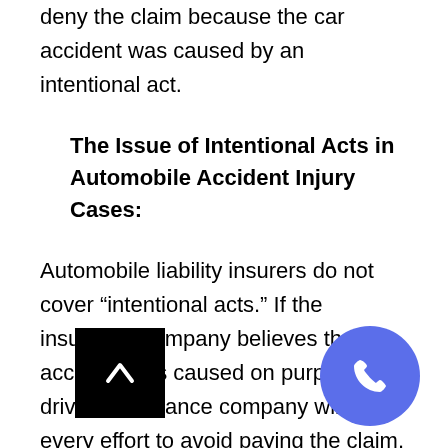deny the claim because the car accident was caused by an intentional act.
The Issue of Intentional Acts in Automobile Accident Injury Cases:
Automobile liability insurers do not cover “intentional acts.” If the insurance company believes the car accident was caused on purpose, the driver’s insurance company will make every effort to avoid paying the claim. As soon as the insurance company is